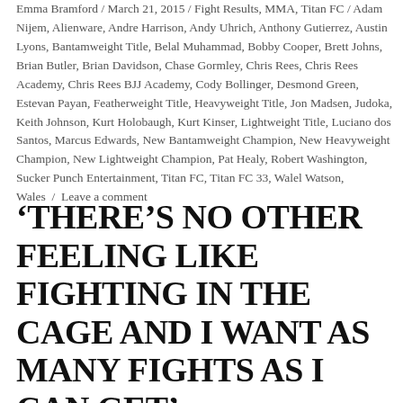Emma Bramford / March 21, 2015 / Fight Results, MMA, Titan FC / Adam Nijem, Alienware, Andre Harrison, Andy Uhrich, Anthony Gutierrez, Austin Lyons, Bantamweight Title, Belal Muhammad, Bobby Cooper, Brett Johns, Brian Butler, Brian Davidson, Chase Gormley, Chris Rees, Chris Rees Academy, Chris Rees BJJ Academy, Cody Bollinger, Desmond Green, Estevan Payan, Featherweight Title, Heavyweight Title, Jon Madsen, Judoka, Keith Johnson, Kurt Holobaugh, Kurt Kinser, Lightweight Title, Luciano dos Santos, Marcus Edwards, New Bantamweight Champion, New Heavyweight Champion, New Lightweight Champion, Pat Healy, Robert Washington, Sucker Punch Entertainment, Titan FC, Titan FC 33, Walel Watson, Wales / Leave a comment
'THERE'S NO OTHER FEELING LIKE FIGHTING IN THE CAGE AND I WANT AS MANY FIGHTS AS I CAN GET'